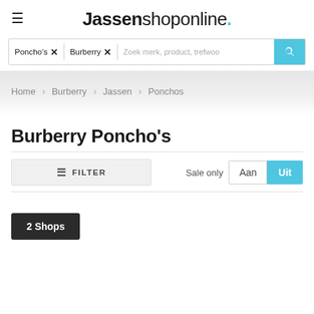Jassenshoponline.
Poncho's × Burberry × Zoek merk, product, trefwoord
Home > Burberry > Jassen > Ponchos
Burberry Poncho's
≡ FILTER  Sale only  Aan  Uit
2 Shops